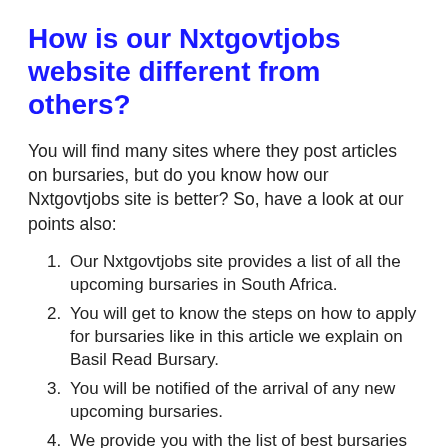How is our Nxtgovtjobs website different from others?
You will find many sites where they post articles on bursaries, but do you know how our Nxtgovtjobs site is better? So, have a look at our points also:
Our Nxtgovtjobs site provides a list of all the upcoming bursaries in South Africa.
You will get to know the steps on how to apply for bursaries like in this article we explain on Basil Read Bursary.
You will be notified of the arrival of any new upcoming bursaries.
We provide you with the list of best bursaries faster than any other websites.
Many sites will grab and post any bursaries right on their website, but we aim to provide quality and relevant content and the…